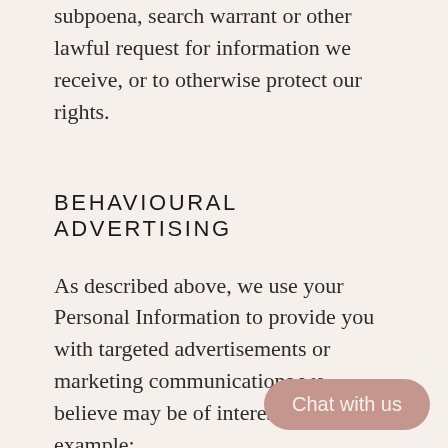subpoena, search warrant or other lawful request for information we receive, or to otherwise protect our rights.
BEHAVIOURAL ADVERTISING
As described above, we use your Personal Information to provide you with targeted advertisements or marketing communications we believe may be of interest to you. For example:
We use Google Analytics to understand how our customers use the Site. You can read more about